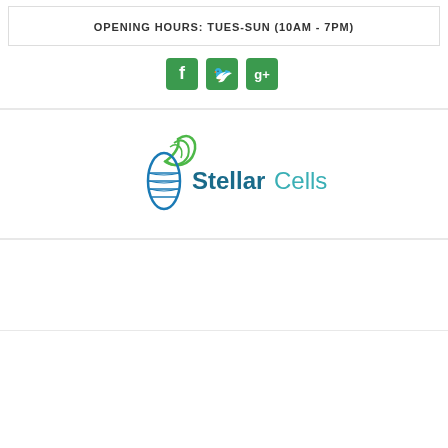OPENING HOURS: TUES-SUN (10AM - 7PM)
[Figure (logo): Social media icons: Facebook, Twitter, Google+]
[Figure (logo): Stellar Cells logo with DNA helix graphic and company name in teal/blue]